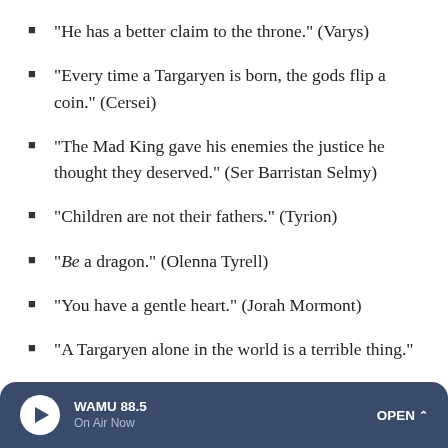"He has a better claim to the throne." (Varys)
"Every time a Targaryen is born, the gods flip a coin." (Cersei)
"The Mad King gave his enemies the justice he thought they deserved." (Ser Barristan Selmy)
"Children are not their fathers." (Tyrion)
"Be a dragon." (Olenna Tyrell)
"You have a gentle heart." (Jorah Mormont)
"A Targaryen alone in the world is a terrible thing."
WAMU 88.5  On Air Now  OPEN